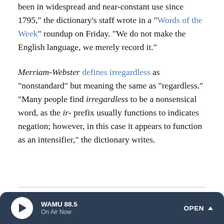been in widespread and near-constant use since 1795," the dictionary's staff wrote in a "Words of the Week" roundup on Friday. "We do not make the English language, we merely record it."
Merriam-Webster defines irregardless as "nonstandard" but meaning the same as "regardless." "Many people find irregardless to be a nonsensical word, as the ir- prefix usually functions to indicates negation; however, in this case it appears to function as an intensifier," the dictionary writes.
[Figure (illustration): Small grayscale image of a historical botanical/dictionary page with plant illustration]
AUTHOR INTERVIEWS
From 'F-Bomb' To 'Photobomb,' How The Dictionary Keeps Up With English
WAMU 88.5 On Air Now OPEN